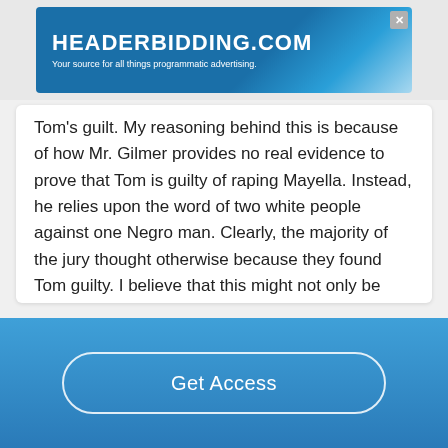[Figure (screenshot): Advertisement banner for headerbidding.com — 'HEADERBIDDING.COM Your source for all things programmatic advertising.']
Tom's guilt. My reasoning behind this is because of how Mr. Gilmer provides no real evidence to prove that Tom is guilty of raping Mayella. Instead, he relies upon the word of two white people against one Negro man. Clearly, the majority of the jury thought otherwise because they found Tom guilty. I believe that this might not only be because of the racism during that time period, but also because of the condescending way in which Mr. Gilmer spoke to Tom....
Read More
Get Access